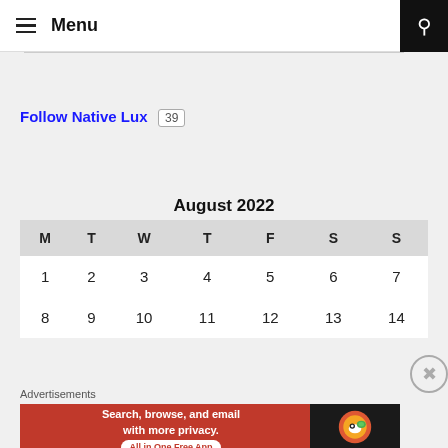≡ Menu
Follow Native Lux 39
August 2022
| M | T | W | T | F | S | S |
| --- | --- | --- | --- | --- | --- | --- |
| 1 | 2 | 3 | 4 | 5 | 6 | 7 |
| 8 | 9 | 10 | 11 | 12 | 13 | 14 |
Advertisements
[Figure (screenshot): DuckDuckGo advertisement banner: Search, browse, and email with more privacy. All in One Free App]